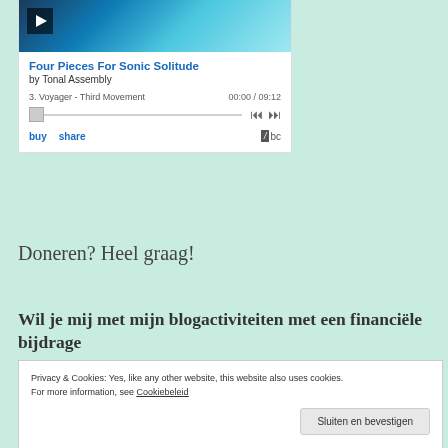[Figure (screenshot): Bandcamp embedded music player showing 'Four Pieces For Sonic Solitude' by Tonal Assembly, track 3 Voyager - Third Movement, 00:00 / 09:12, with play controls, buy and share links]
Doneren? Heel graag!
Wil je mij met mijn blogactiviteiten met een financiële bijdrage
Privacy & Cookies: Yes, like any other website, this website also uses cookies. For more information, see Cookiebeleid
Sluiten en bevestigen